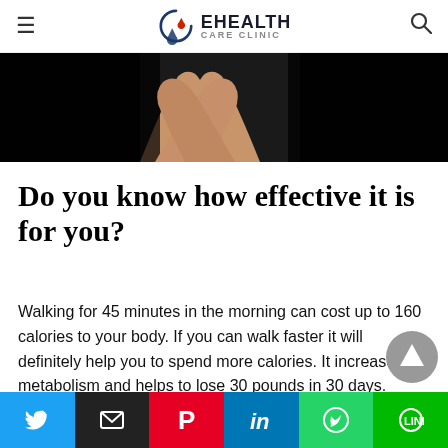EHEALTH CARE CLINIC
[Figure (photo): Cropped photo showing two hands/wrists raised against a dark background, implying exercise or fitness context.]
Do you know how effective it is for you?
Walking for 45 minutes in the morning can cost up to 160 calories to your body. If you can walk faster it will definitely help you to spend more calories. It increases metabolism and helps to lose 30 pounds in 30 days.
If you find walking a bit boring, create a playlist of all
Twitter | Email | Pinterest | LinkedIn | WhatsApp | Line